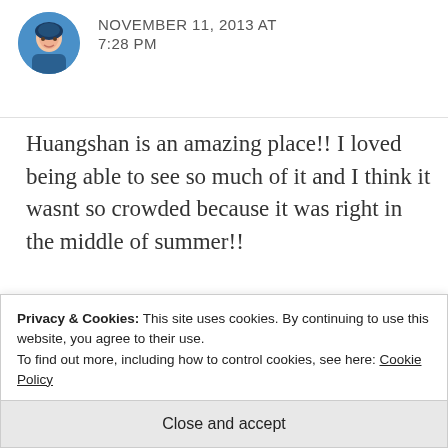NOVEMBER 11, 2013 AT 7:28 PM
Huangshan is an amazing place!! I loved being able to see so much of it and I think it wasnt so crowded because it was right in the middle of summer!!
★ Like
Privacy & Cookies: This site uses cookies. By continuing to use this website, you agree to their use.
To find out more, including how to control cookies, see here: Cookie Policy
Close and accept